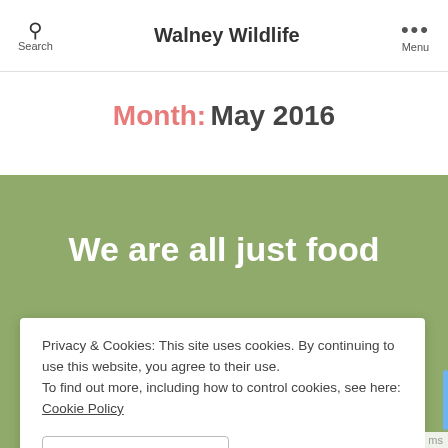Search | Walney Wildlife | Menu
Month: May 2016
We are all just food
May 21, 2016
Privacy & Cookies: This site uses cookies. By continuing to use this website, you agree to their use.
To find out more, including how to control cookies, see here: Cookie Policy
CLOSE AND ACCEPT